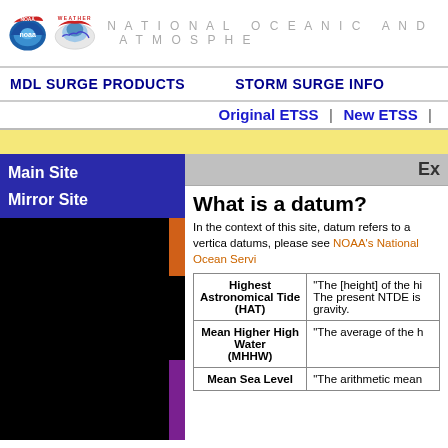NATIONAL OCEANIC AND ATMOSPHER
MDL SURGE PRODUCTS   STORM SURGE INFO
Original ETSS | New ETSS |
Main Site
Mirror Site
Ex
What is a datum?
In the context of this site, datum refers to a vertica datums, please see NOAA's National Ocean Servi
| Term | Definition |
| --- | --- |
| Highest Astronomical Tide (HAT) | "The [height] of the hi The present NTDE is gravity. |
| Mean Higher High Water (MHHW) | "The average of the h |
| Mean Sea Level | "The arithmetic mean |